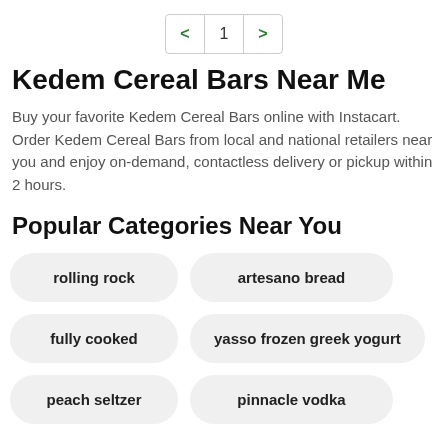< 1 >
Kedem Cereal Bars Near Me
Buy your favorite Kedem Cereal Bars online with Instacart. Order Kedem Cereal Bars from local and national retailers near you and enjoy on-demand, contactless delivery or pickup within 2 hours.
Popular Categories Near You
rolling rock
artesano bread
fully cooked
yasso frozen greek yogurt
peach seltzer
pinnacle vodka